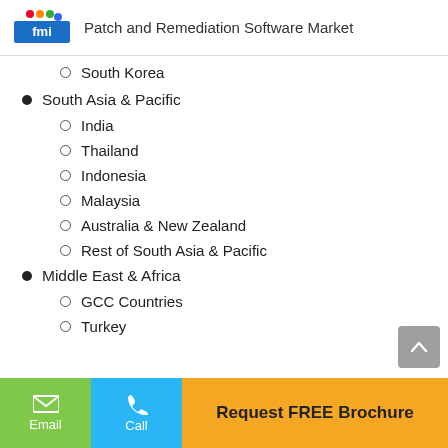Patch and Remediation Software Market
South Korea
South Asia & Pacific
India
Thailand
Indonesia
Malaysia
Australia & New Zealand
Rest of South Asia & Pacific
Middle East & Africa
GCC Countries
Turkey
Email | Call | Request FREE Brochure